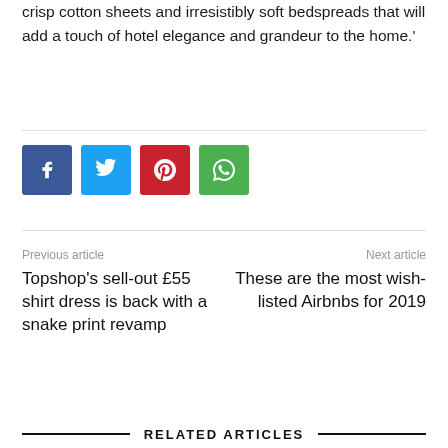crisp cotton sheets and irresistibly soft bedspreads that will add a touch of hotel elegance and grandeur to the home.'
[Figure (infographic): Row of four social media share buttons: Facebook (blue), Twitter (light blue), Pinterest (red), WhatsApp (green)]
Previous article
Next article
Topshop's sell-out £55 shirt dress is back with a snake print revamp
These are the most wish-listed Airbnbs for 2019
RELATED ARTICLES